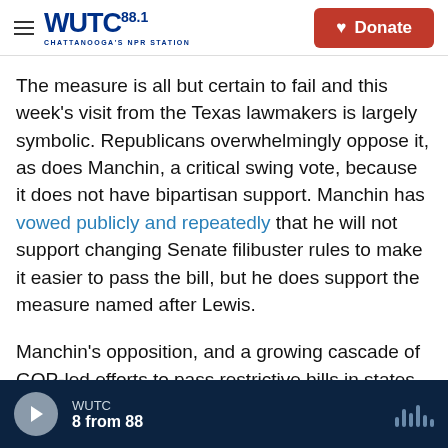WUTC 88.1 CHATTANOOGA'S NPR STATION | Donate
The measure is all but certain to fail and this week's visit from the Texas lawmakers is largely symbolic. Republicans overwhelmingly oppose it, as does Manchin, a critical swing vote, because it does not have bipartisan support. Manchin has vowed publicly and repeatedly that he will not support changing Senate filibuster rules to make it easier to pass the bill, but he does support the measure named after Lewis.
Manchin's opposition, and a growing cascade of GOP-led efforts to pass restrictive bills in states across the country, have intensified Democrats'
WUTC | 8 from 88